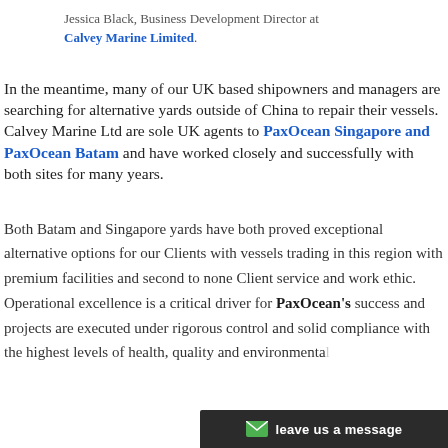Jessica Black, Business Development Director at Calvey Marine Limited.
In the meantime, many of our UK based shipowners and managers are searching for alternative yards outside of China to repair their vessels. Calvey Marine Ltd are sole UK agents to PaxOcean Singapore and PaxOcean Batam and have worked closely and successfully with both sites for many years.
Both Batam and Singapore yards have both proved exceptional alternative options for our Clients with vessels trading in this region with premium facilities and second to none Client service and work ethic. Operational excellence is a critical driver for PaxOcean's success and projects are executed under rigorous control and solid compliance with the highest levels of health, quality and environmental
leave us a message